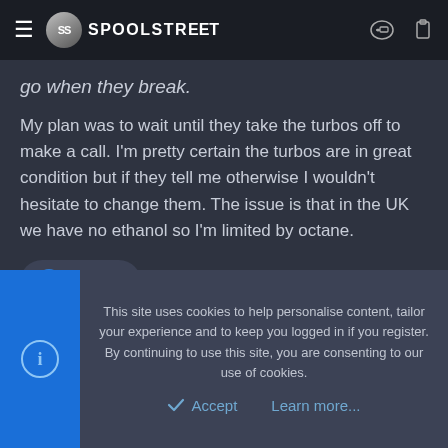SPOOLSTREET
go when they break.
My plan was to wait until they take the turbos off to make a call. I'm pretty certain the turbos are in great condition but if they tell me otherwise I wouldn't hesitate to change them. The issue is that in the UK we have no ethanol so I'm limited by octane.
NoGuru
Torgus
This site uses cookies to help personalise content, tailor your experience and to keep you logged in if you register.
By continuing to use this site, you are consenting to our use of cookies.
Accept
Learn more...